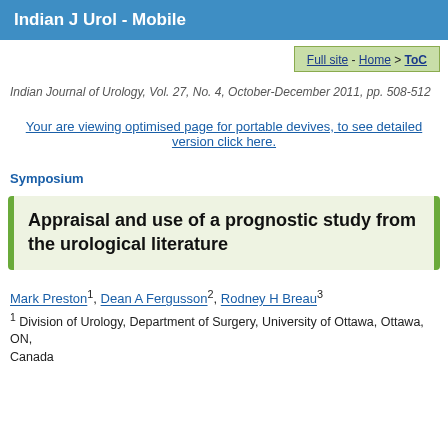Indian J Urol - Mobile
Full site - Home > ToC
Indian Journal of Urology, Vol. 27, No. 4, October-December 2011, pp. 508-512
Your are viewing optimised page for portable devives, to see detailed version click here.
Symposium
Appraisal and use of a prognostic study from the urological literature
Mark Preston1, Dean A Fergusson2, Rodney H Breau3
1 Division of Urology, Department of Surgery, University of Ottawa, Ottawa, ON, Canada